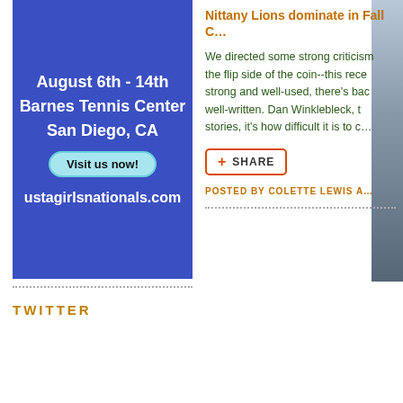[Figure (illustration): Banner advertisement for USTA Girls Nationals, August 6th-14th, Barnes Tennis Center, San Diego, CA with 'Visit us now!' button and website ustagirlsnationals.com on a blue background]
[Figure (photo): Partial photo visible on the right edge of the page]
TWITTER
Nittany Lions dominate in Fall C…
We directed some strong criticism… the flip side of the coin--this rece… strong and well-used, there's bac… well-written. Dan Winklebleck, t… stories, it's how difficult it is to c…
SHARE
POSTED BY COLETTE LEWIS A…